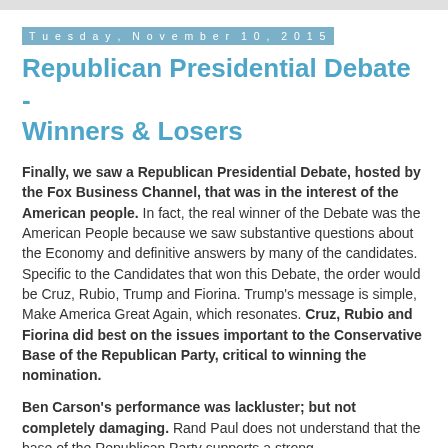Tuesday, November 10, 2015
Republican Presidential Debate - Winners & Losers
Finally, we saw a Republican Presidential Debate, hosted by the Fox Business Channel, that was in the interest of the American people.  In fact, the real winner of the Debate was the American People because we saw substantive questions about the Economy and definitive answers by many of the candidates.   Specific to the Candidates that won this Debate, the order would be Cruz, Rubio, Trump and Fiorina.  Trump's message is simple, Make America Great Again, which resonates.  Cruz, Rubio and Fiorina did best on the issues important to the Conservative Base of the Republican Party, critical to winning the nomination.
Ben Carson's performance was lackluster; but not completely damaging.  Rand Paul does not understand that the base of the Republican Party supports a strong